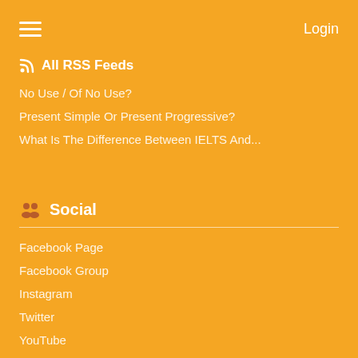≡  Login
⊳ All RSS Feeds
No Use / Of No Use?
Present Simple Or Present Progressive?
What Is The Difference Between IELTS And...
Social
Facebook Page
Facebook Group
Instagram
Twitter
YouTube
Medium
Telegram